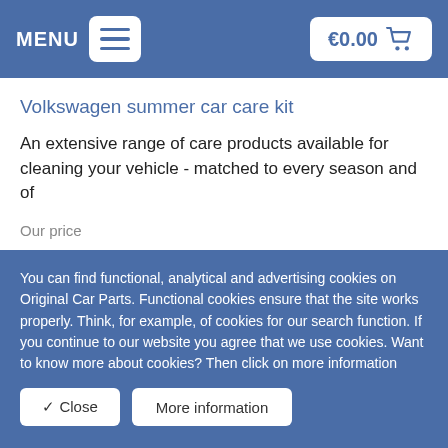MENU  €0.00
Volkswagen summer car care kit
An extensive range of care products available for cleaning your vehicle - matched to every season and of
Our price
€35.94
You can find functional, analytical and advertising cookies on Original Car Parts. Functional cookies ensure that the site works properly. Think, for example, of cookies for our search function. If you continue to our website you agree that we use cookies. Want to know more about cookies? Then click on more information
✓ Close  More information